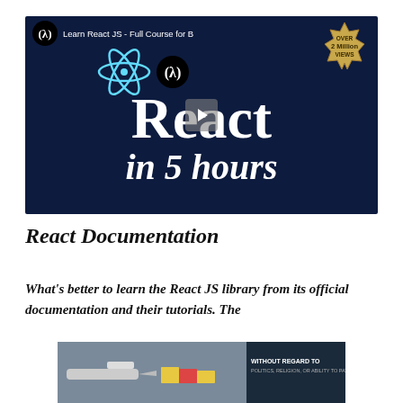[Figure (screenshot): Video thumbnail for 'Learn React JS - Full Course for Beginners' on freeCodeCamp. Dark navy background with React logo, freeCodeCamp logo, large white text reading 'React in 5 hours', and a gold badge saying 'OVER 2 Million VIEWS'. A play button is overlaid in the center.]
React Documentation
What's better to learn the React JS library from its official documentation and their tutorials. The
[Figure (photo): Advertisement banner showing an airplane on a tarmac with cargo being loaded, with text 'WITHOUT REGARD TO POLITICS, RELIGION, OR ABILITY TO PAY' on the right side.]